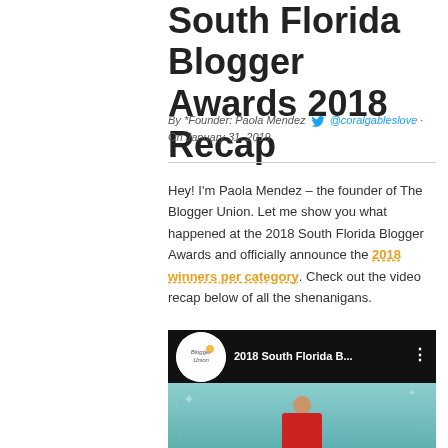South Florida Blogger Awards 2018 Recap
By *Founder: Paola Mendez @coralgableslove · On January 31, 2019
Hey! I'm Paola Mendez – the founder of The Blogger Union. Let me show you what happened at the 2018 South Florida Blogger Awards and officially announce the 2018 winners per category. Check out the video recap below of all the shenanigans.
[Figure (screenshot): YouTube video thumbnail showing '2018 South Florida B...' with Blogger Union logo circle, dark header bar with title and menu dots, and a teal/cyan background preview with a person in a red shirt]